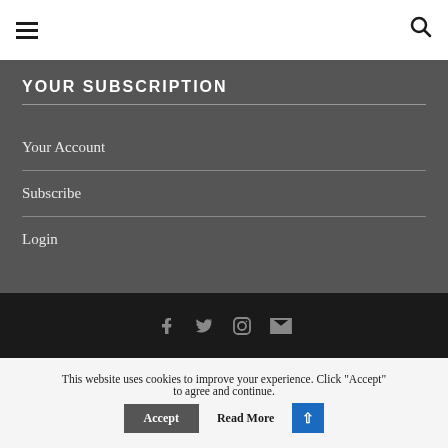☰ [menu icon] | [search icon]
YOUR SUBSCRIPTION
Your Account
Subscribe
Login
[Facebook] [Twitter] [Instagram] [Email]
This website uses cookies to improve your experience. Click "Accept" to agree and continue. Accept  Read More